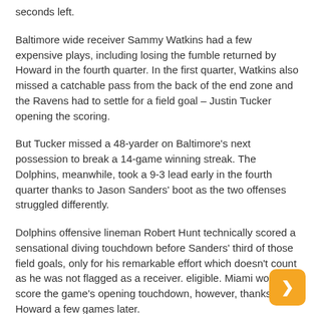seconds left.
Baltimore wide receiver Sammy Watkins had a few expensive plays, including losing the fumble returned by Howard in the fourth quarter. In the first quarter, Watkins also missed a catchable pass from the back of the end zone and the Ravens had to settle for a field goal – Justin Tucker opening the scoring.
But Tucker missed a 48-yarder on Baltimore's next possession to break a 14-game winning streak. The Dolphins, meanwhile, took a 9-3 lead early in the fourth quarter thanks to Jason Sanders' boot as the two offenses struggled differently.
Dolphins offensive lineman Robert Hunt technically scored a sensational diving touchdown before Sanders' third of those field goals, only for his remarkable effort which doesn't count as he was not flagged as a receiver. eligible. Miami would score the game's opening touchdown, however, thanks to Howard a few games later.
The Ravens (6-3) entered the game as a seven-point favorites but were sidelined for most of the night. Miami (3-7), meanwhile, earned